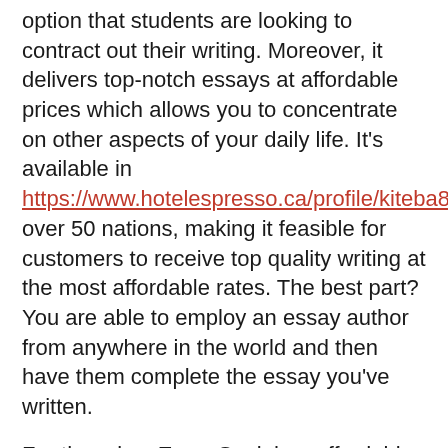option that students are looking to contract out their writing. Moreover, it delivers top-notch essays at affordable prices which allows you to concentrate on other aspects of your daily life. It's available in https://www.hotelespresso.ca/profile/kiteba8570/profile over 50 nations, making it feasible for customers to receive top quality writing at the most affordable rates. The best part? You are able to employ an essay author from anywhere in the world and then have them complete the essay you've written.
For the price, EssaySeek has affordable prices for college essays. However, the costs vary based on the kind of paper, you can https://usersite.datalab.eu/UserProfile/tabid/209/userId/56683/language/en-US/Default.aspx expect to spend around nine dollars https://localwritersacademy.school.blog/2021/12/30/how-to-write-the-dissertation/ on the research paper of nine pages while only paying $28 for an eight-page term paper.